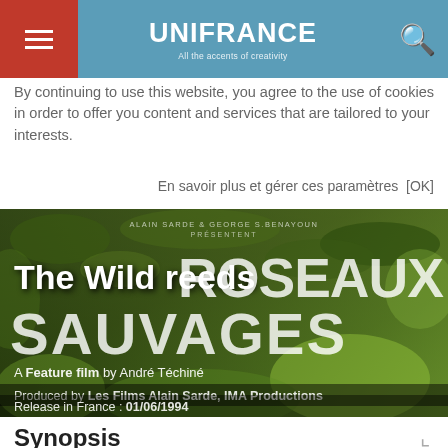UNIFRANCE — All the accents of creativity
By continuing to use this website, you agree to the use of cookies in order to offer you content and services that are tailored to your interests.
En savoir plus et gérer ces paramètres  [OK]
[Figure (screenshot): Movie banner for 'The Wild Reeds' (Les Roseaux Sauvages), a feature film by André Téchiné. Produced by Les Films Alain Sarde, IMA Productions. Release in France: 01/06/1994. Dark background with movie poster text.]
Synopsis
Maïté, Serge, François and Henri, an exiled Algerian, live in a small tow in the south-west of France. They are preoccupied with the war in Algeria and their high school graduations. At